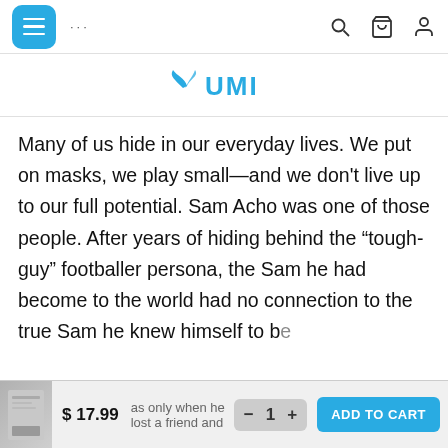[Figure (screenshot): Mobile website navigation bar with hamburger menu button (blue rounded square), ellipsis dots, search icon, bag icon, and user icon]
[Figure (logo): UMI brand logo in cyan/blue with a leaf-like icon to the left of the text UMI]
Many of us hide in our everyday lives. We put on masks, we play small—and we don't live up to our full potential. Sam Acho was one of those people. After years of hiding behind the “tough-guy” footballer persona, the Sam he had become to the world had no connection to the true Sam he knew himself to b... it was only when he lost a friend and
$ 17.99
ADD TO CART